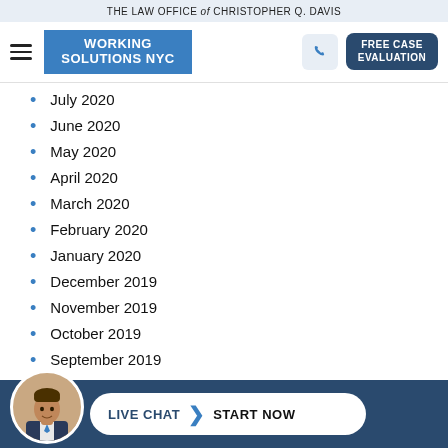THE LAW OFFICE of CHRISTOPHER Q. DAVIS
[Figure (logo): Working Solutions NYC logo with blue background and white bold text, navigation bar with hamburger menu, phone button, and FREE CASE EVALUATION button]
July 2020
June 2020
May 2020
April 2020
March 2020
February 2020
January 2020
December 2019
November 2019
October 2019
September 2019
August 2019
[Figure (illustration): Live chat widget at bottom with attorney photo avatar and 'LIVE CHAT > START NOW' pill button on dark blue bar]